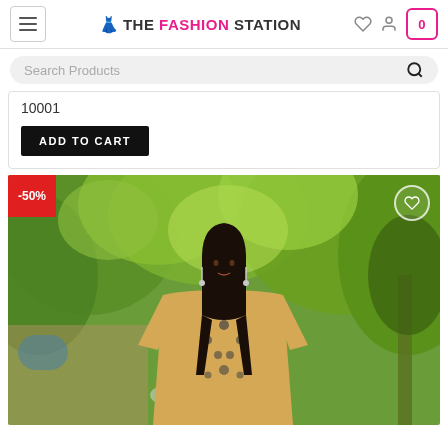THE FASHION STATION
Search Products
10001
ADD TO CART
[Figure (photo): Woman wearing a yellow/mustard embroidered Pakistani dress (kurti/shalwar kameez) standing outdoors in a garden setting with green trees and foliage in the background. A -50% discount badge is shown in the top left corner, and a wishlist heart icon is in the top right.]